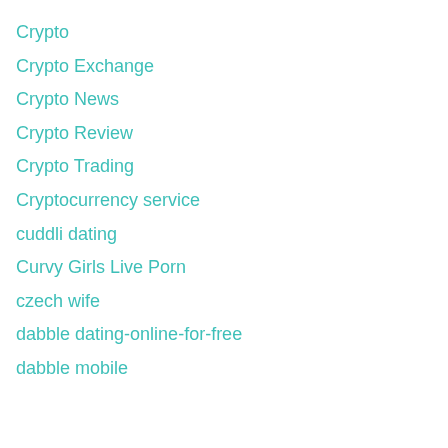Crypto
Crypto Exchange
Crypto News
Crypto Review
Crypto Trading
Cryptocurrency service
cuddli dating
Curvy Girls Live Porn
czech wife
dabble dating-online-for-free
dabble mobile